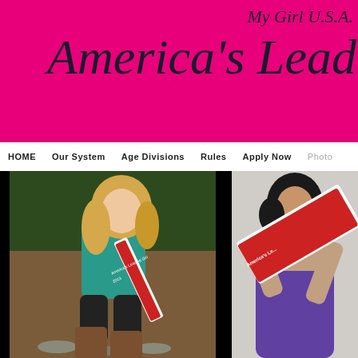My Girl U.S.A. America's Lead...
HOME  Our System  Age Divisions  Rules  Apply Now  Photo
[Figure (photo): Young blonde woman sitting outdoors wearing a teal long-sleeve top, black pants, brown boots, and a red-and-white sash reading 'America's Leading Girl 2013']
[Figure (photo): Woman in purple dress holding up a red-and-white 'America's Le...' sash/banner]